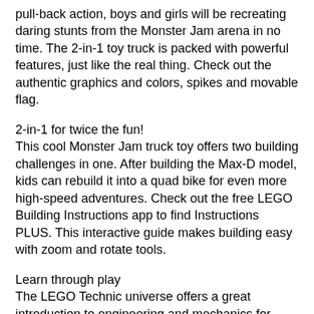pull-back action, boys and girls will be recreating daring stunts from the Monster Jam arena in no time. The 2-in-1 toy truck is packed with powerful features, just like the real thing. Check out the authentic graphics and colors, spikes and movable flag.
2-in-1 for twice the fun!
This cool Monster Jam truck toy offers two building challenges in one. After building the Max-D model, kids can rebuild it into a quad bike for even more high-speed adventures. Check out the free LEGO Building Instructions app to find Instructions PLUS. This interactive guide makes building easy with zoom and rotate tools.
Learn through play
The LEGO Technic universe offers a great introduction to engineering and mechanics for young LEGO fans. With detailed models, inspired by real-world vehicles, kids learn as they play.